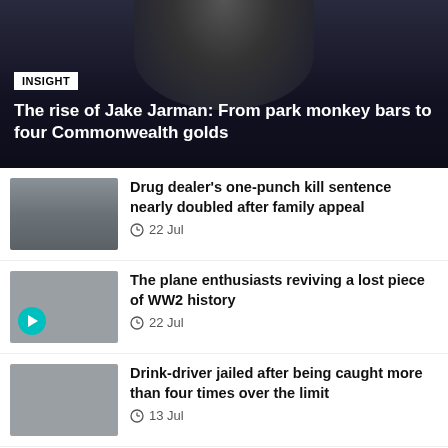[Figure (photo): Hero image with dark background showing a person, with INSIGHT badge overlay]
The rise of Jake Jarman: From park monkey bars to four Commonwealth golds
[Figure (photo): Mugshot-style photo of a young man]
Drug dealer's one-punch kill sentence nearly doubled after family appeal
22 Jul
[Figure (photo): Grey thumbnail with play button overlay]
The plane enthusiasts reviving a lost piece of WW2 history
22 Jul
[Figure (photo): Grey thumbnail image]
Drink-driver jailed after being caught more than four times over the limit
13 Jul